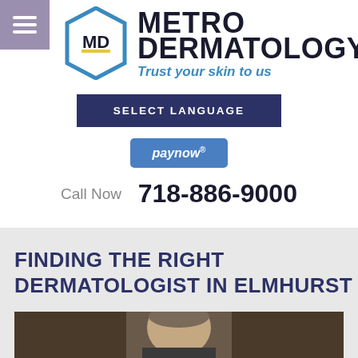[Figure (logo): Metro Dermatology logo with hexagon MD icon and tagline 'Trust your skin to us']
SELECT LANGUAGE
paynow®
Call Now 718-886-9000
FINDING THE RIGHT DERMATOLOGIST IN ELMHURST
[Figure (photo): Photo of a male dermatologist, gray-haired, smiling, partial crop showing face and shoulders]